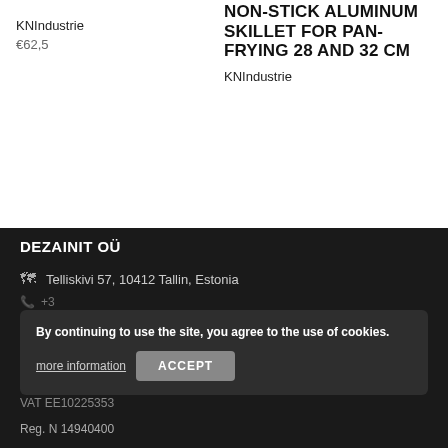KNIndustrie
€62,5
NON-STICK ALUMINUM SKILLET FOR PAN-FRYING 28 AND 32 CM
KNIndustrie
DEZAINIT OÜ
Telliskivi 57, 10412 Tallin, Estonia
By continuing to use the site, you agree to the use of cookies.
more information
ACCEPT
VAT EE10225353
Reg. N 14940400